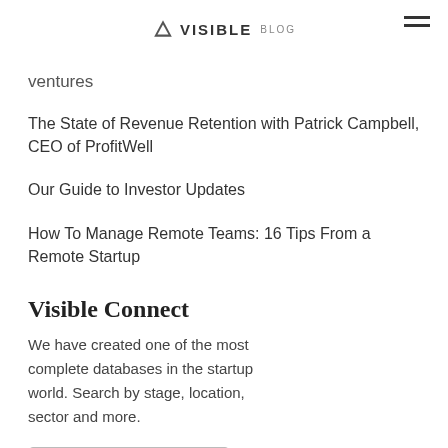VISIBLE BLOG
ventures
The State of Revenue Retention with Patrick Campbell, CEO of ProfitWell
Our Guide to Investor Updates
How To Manage Remote Teams: 16 Tips From a Remote Startup
Visible Connect
We have created one of the most complete databases in the startup world. Search by stage, location, sector and more.
Find Investors Now